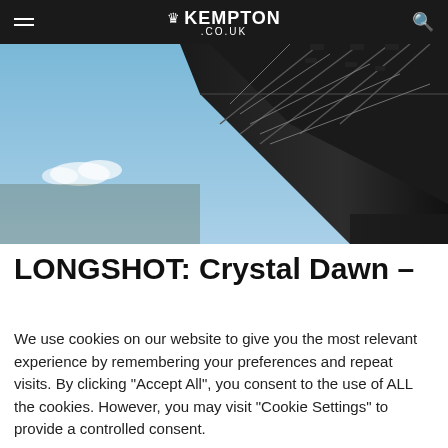KEMPTON .CO.UK
[Figure (photo): Upward angle photo of a stadium stand roof with floodlights against a blue sky]
LONGSHOT: Crystal Dawn –
We use cookies on our website to give you the most relevant experience by remembering your preferences and repeat visits. By clicking "Accept All", you consent to the use of ALL the cookies. However, you may visit "Cookie Settings" to provide a controlled consent.
Cookie Settings | Accept All